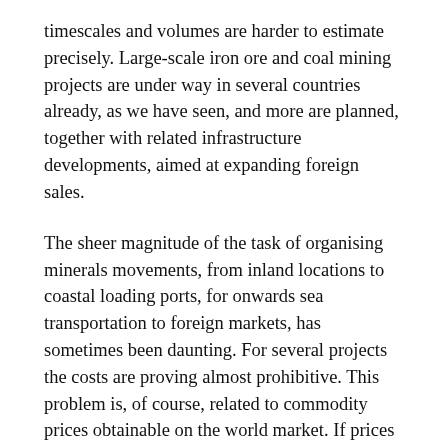timescales and volumes are harder to estimate precisely. Large-scale iron ore and coal mining projects are under way in several countries already, as we have seen, and more are planned, together with related infrastructure developments, aimed at expanding foreign sales.
The sheer magnitude of the task of organising minerals movements, from inland locations to coastal loading ports, for onwards sea transportation to foreign markets, has sometimes been daunting. For several projects the costs are proving almost prohibitive. This problem is, of course, related to commodity prices obtainable on the world market. If prices are high enough, projects with even excessive costs can prove profitable. But recently iron ore and coal prices have fallen steeply from peak levels as huge additional relatively low-cost supplies become available.